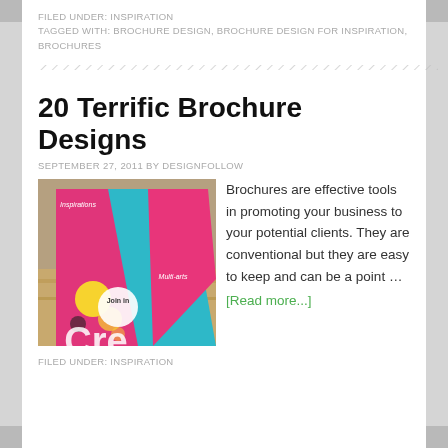FILED UNDER: INSPIRATION
TAGGED WITH: BROCHURE DESIGN, BROCHURE DESIGN FOR INSPIRATION, BROCHURES
20 Terrific Brochure Designs
SEPTEMBER 27, 2011 BY DESIGNFOLLOW
[Figure (photo): Photo of colorful folded brochures with 'Join in' text visible, pink and teal colors]
Brochures are effective tools in promoting your business to your potential clients. They are conventional but they are easy to keep and can be a point …
[Read more...]
FILED UNDER: INSPIRATION